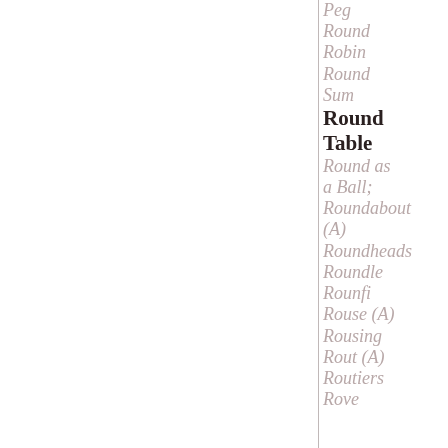Peg Round
Robin Round
Sum
Round Table
Round as a Ball; Roundabout (A)
Roundheads
Roundle
Rounfi
Rouse (A)
Rousing
Rout (A)
Routiers
Rove